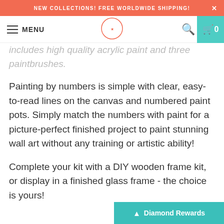NEW COLLECTIONS! FREE WORLDWIDE SHIPPING!
MENU
includes high quality acrylic paint and three paintbrushes.
Painting by numbers is simple with clear, easy-to-read lines on the canvas and numbered paint pots. Simply match the numbers with paint for a picture-perfect finished project to paint stunning wall art without any training or artistic ability!
Complete your kit with a DIY wooden frame kit, or display in a finished glass frame - the choice is yours!
These beautiful, heartwarmin…